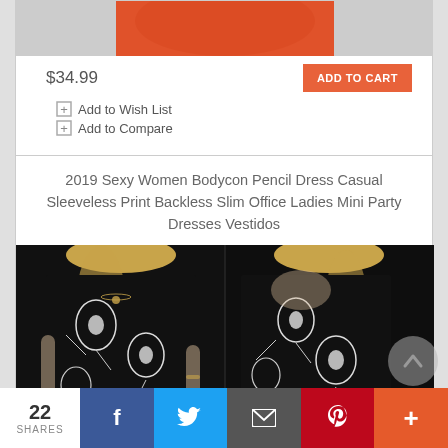[Figure (photo): Top portion of orange/red dress product photo (cropped, partially visible)]
$34.99
ADD TO CART
Add to Wish List
Add to Compare
2019 Sexy Women Bodycon Pencil Dress Casual Sleeveless Print Backless Slim Office Ladies Mini Party Dresses Vestidos
[Figure (photo): Black and white floral print bodycon dress shown from front and back on a blonde model]
22 SHARES  [Facebook] [Twitter] [Email] [Pinterest] [More]